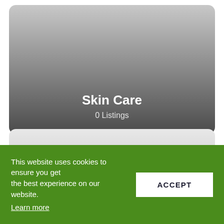[Figure (illustration): A rounded card with a gradient from light gray at the top to dark gray at the bottom, containing the title 'Skin Care' and subtitle '0 Listings' in white text near the bottom.]
Skin Care
0 Listings
[Figure (illustration): A rounded card with a light gray gradient background, no visible text content.]
This website uses cookies to ensure you get the best experience on our website. Learn more
ACCEPT